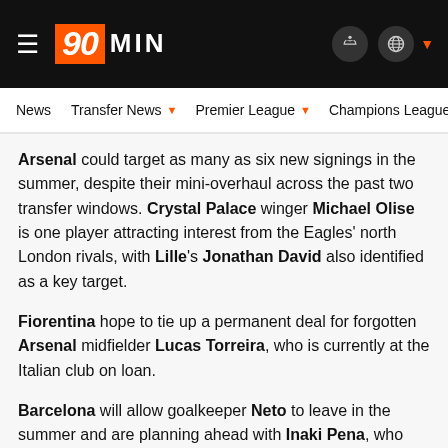90MIN — Navigation header with logo, menu icon, accessibility and language icons
News | Transfer News | Premier League | Champions League | Eu...
Arsenal could target as many as six new signings in the summer, despite their mini-overhaul across the past two transfer windows. Crystal Palace winger Michael Olise is one player attracting interest from the Eagles' north London rivals, with Lille's Jonathan David also identified as a key target.
Fiorentina hope to tie up a permanent deal for forgotten Arsenal midfielder Lucas Torreira, who is currently at the Italian club on loan.
Barcelona will allow goalkeeper Neto to leave in the summer and are planning ahead with Inaki Pena, who impressed against his parent club in the Europa League on Thursday night.
Aston Villa manager Steven Gerrard has suggested it will be difficult for the club to sign Philippe Coutinho on a...